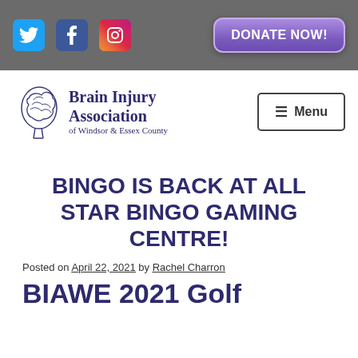Brain Injury Association of Windsor & Essex County — website header with social icons and donate button
[Figure (logo): Brain Injury Association of Windsor & Essex County logo with brain illustration and navigation menu button]
BINGO IS BACK AT ALL STAR BINGO GAMING CENTRE!
Posted on April 22, 2021 by Rachel Charron
BIAWE 2021 Golf